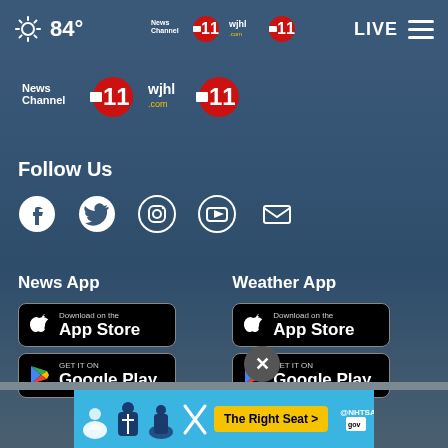84° LIVE
[Figure (logo): News Channel 11 / WJHL logo in header and body]
Follow Us
[Figure (infographic): Social media icons: Facebook, Twitter, Instagram, YouTube, Email]
News App
[Figure (infographic): Download on the App Store badge and GET IT ON Google Play badge for News App]
Weather App
[Figure (infographic): Download on the App Store badge and GET IT ON Google Play badge for Weather App]
[Figure (infographic): Advertisement banner: The Right Seat > NHTSA car seat safety ad with child seat icons]